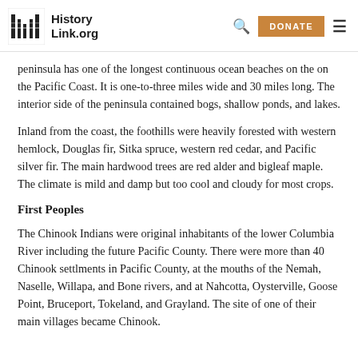HistoryLink.org
peninsula has one of the longest continuous ocean beaches on the on the Pacific Coast. It is one-to-three miles wide and 30 miles long. The interior side of the peninsula contained bogs, shallow ponds, and lakes.
Inland from the coast, the foothills were heavily forested with western hemlock, Douglas fir, Sitka spruce, western red cedar, and Pacific silver fir. The main hardwood trees are red alder and bigleaf maple. The climate is mild and damp but too cool and cloudy for most crops.
First Peoples
The Chinook Indians were original inhabitants of the lower Columbia River including the future Pacific County. There were more than 40 Chinook settlments in Pacific County, at the mouths of the Nemah, Naselle, Willapa, and Bone rivers, and at Nahcotta, Oysterville, Goose Point, Bruceport, Tokeland, and Grayland. The site of one of their main villages became Chinook.